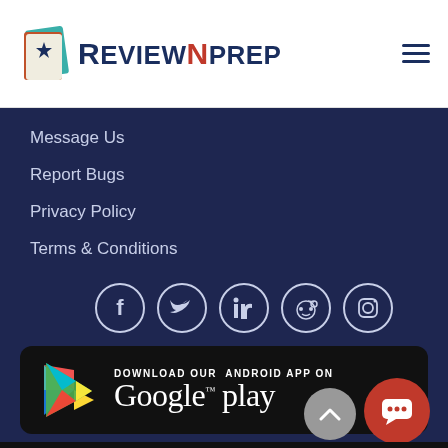ReviewNPrep
Message Us
Report Bugs
Privacy Policy
Terms & Conditions
[Figure (infographic): Row of 5 social media icon circles: Facebook, Twitter, LinkedIn, Reddit, Instagram]
[Figure (infographic): Google Play Store download banner with colorful triangle logo and text: DOWNLOAD OUR ANDROID APP ON Google play]